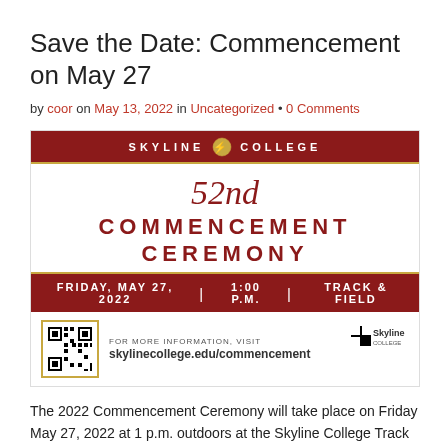Save the Date: Commencement on May 27
by coor on May 13, 2022 in Uncategorized • 0 Comments
[Figure (infographic): Skyline College 52nd Commencement Ceremony flyer. Red banner at top reads SKYLINE COLLEGE with torch logo. Center shows '52nd COMMENCEMENT CEREMONY' in red text on white background. Bottom red bar: FRIDAY, MAY 27, 2022 | 1:00 P.M. | TRACK & FIELD. Info row with QR code, skylinecollege.edu/commencement URL, and Skyline logo.]
The 2022 Commencement Ceremony will take place on Friday May 27, 2022 at 1 p.m. outdoors at the Skyline College Track & Field. In case of inclement weather, the ceremony will be moved to the Gymnasium Building C.